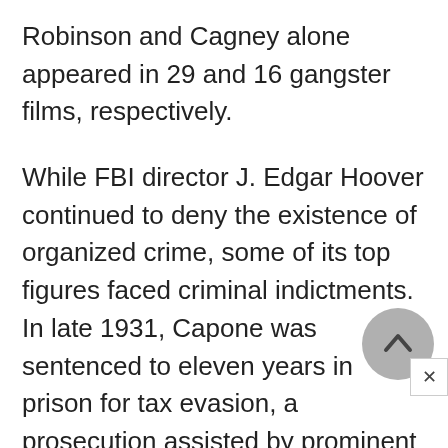Robinson and Cagney alone appeared in 29 and 16 gangster films, respectively.
While FBI director J. Edgar Hoover continued to deny the existence of organized crime, some of its top figures faced criminal indictments. In late 1931, Capone was sentenced to eleven years in prison for tax evasion, a prosecution assisted by prominent Chicago businessmen: in public folklore, Elliot Ness and his